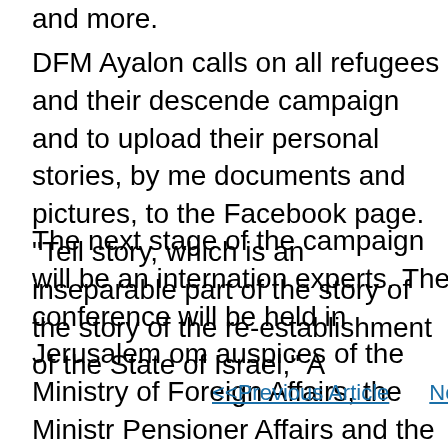and more.
DFM Ayalon calls on all refugees and their descendants to join the campaign and to upload their personal stories, by means of documents and pictures, to the Facebook page. "Tell your story, which is an inseparable part of the story of the story of the re-establishment of the State of Israel," A
The next stage of the campaign will be an international conference of experts. The conference will be held in Jerusalem om under the auspices of the Ministry of Foreign Affairs, the Ministry of Pensioner Affairs and the World Jewish Congress. In addition, it will take place in New York when the United Nations General Assembly at the end of this month. The personal stories that appeared online will be presented at the conference.
<<Previous Article    Next Article >>